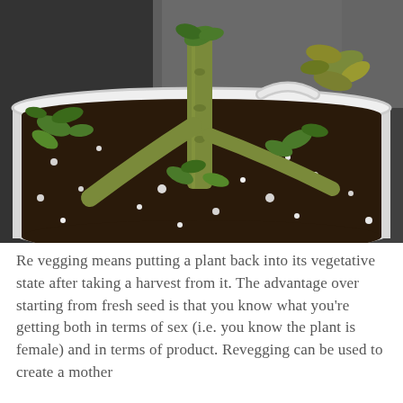[Figure (photo): A heavily pruned/harvested cannabis plant in a white round pot filled with dark soil mixed with white perlite. The plant shows thick bare stems with small new green leaf growth beginning at nodes, photographed indoors against a reflective grow tent background.]
Re vegging means putting a plant back into its vegetative state after taking a harvest from it. The advantage over starting from fresh seed is that you know what you're getting both in terms of sex (i.e. you know the plant is female) and in terms of product. Revegging can be used to create a mother